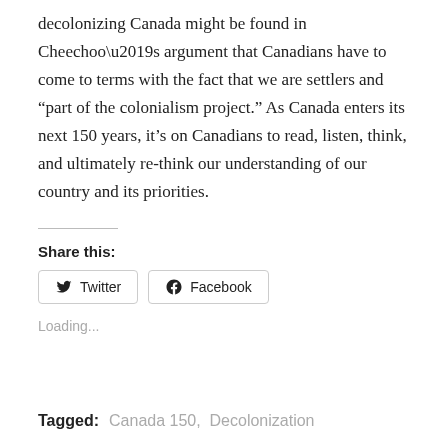decolonizing Canada might be found in Cheechoo’s argument that Canadians have to come to terms with the fact that we are settlers and “part of the colonialism project.” As Canada enters its next 150 years, it’s on Canadians to read, listen, think, and ultimately re-think our understanding of our country and its priorities.
Share this:
Twitter  Facebook
Loading...
Tagged:  Canada 150,  Decolonization